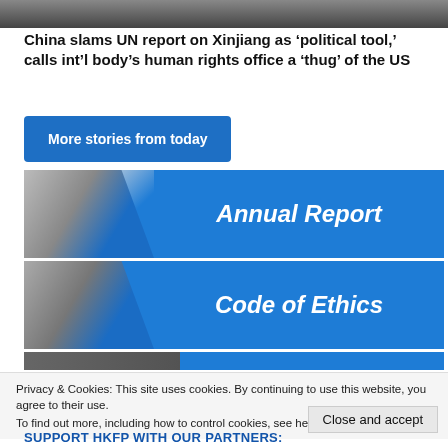[Figure (photo): Cropped top portion of a photo, dark tones]
China slams UN report on Xinjiang as ‘political tool,’ calls int’l body’s human rights office a ‘thug’ of the US
More stories from today
[Figure (infographic): Annual Report banner with photo on left and blue background with white italic text 'Annual Report']
[Figure (infographic): Code of Ethics banner with photo on left and blue background with white italic text 'Code of Ethics']
[Figure (photo): Partial third banner, partially obscured by cookie notice]
Privacy & Cookies: This site uses cookies. By continuing to use this website, you agree to their use.
To find out more, including how to control cookies, see here: Cookie Policy
Close and accept
SUPPORT HKFP WITH OUR PARTNERS: